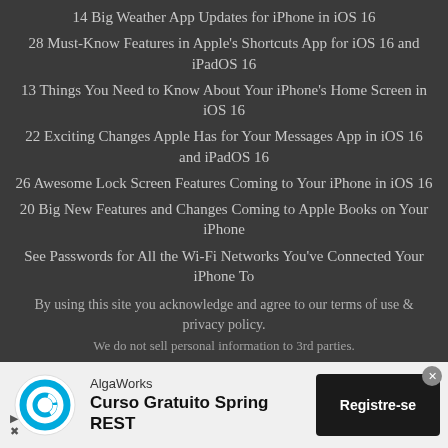14 Big Weather App Updates for iPhone in iOS 16
28 Must-Know Features in Apple's Shortcuts App for iOS 16 and iPadOS 16
13 Things You Need to Know About Your iPhone's Home Screen in iOS 16
22 Exciting Changes Apple Has for Your Messages App in iOS 16 and iPadOS 16
26 Awesome Lock Screen Features Coming to Your iPhone in iOS 16
20 Big New Features and Changes Coming to Apple Books on Your iPhone
See Passwords for All the Wi-Fi Networks You've Connected Your iPhone To
By using this site you acknowledge and agree to our terms of use & privacy policy.
We do not sell personal information to 3rd parties.
[Figure (infographic): Advertisement banner for AlgaWorks Curso Gratuito Spring REST with logo, text, and Registre-se button]